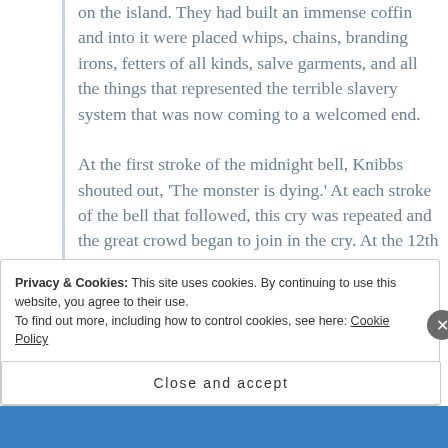on the island. They had built an immense coffin and into it were placed whips, chains, branding irons, fetters of all kinds, salve garments, and all the things that represented the terrible slavery system that was now coming to a welcomed end.

At the first stroke of the midnight bell, Knibbs shouted out, 'The monster is dying.' At each stroke of the bell that followed, this cry was repeated and the great crowd began to join in the cry. At the 12th stroke 10,000
Privacy & Cookies: This site uses cookies. By continuing to use this website, you agree to their use.
To find out more, including how to control cookies, see here: Cookie Policy
Close and accept